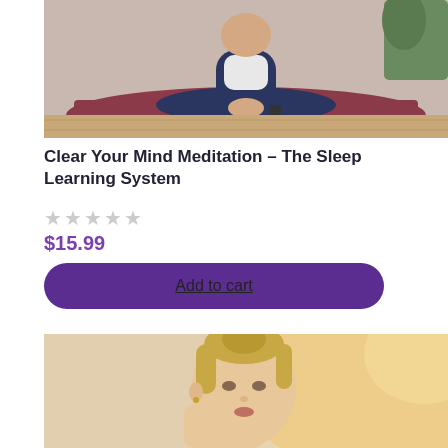[Figure (photo): Person sitting cross-legged on a dark pink/maroon yoga mat in a meditation pose, wearing dark navy pants and white top, indoors on a wooden floor with a plant in background.]
Clear Your Mind Meditation – The Sleep Learning System
★★★★★ (empty star rating, all grey)
$15.99
Add to cart
[Figure (photo): Blonde woman with hair up in a bun, looking slightly to the side, in a warm blurred background setting.]